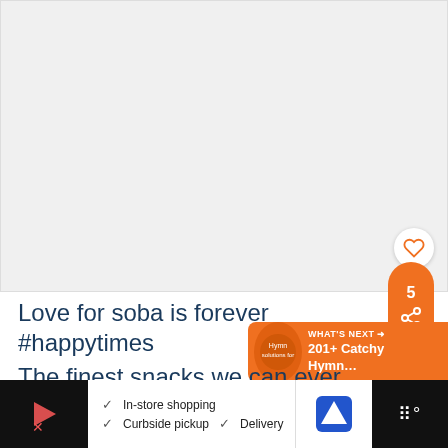[Figure (photo): Large image placeholder area (white/light gray) occupying the top portion of the page]
Love for soba is forever #happytimes
The finest snacks we can ever think of
[Figure (infographic): What's Next badge with orange background showing '201+ Catchy Hymn...']
[Figure (infographic): Bottom advertisement bar showing In-store shopping, Curbside pickup, Delivery with navigation icons]